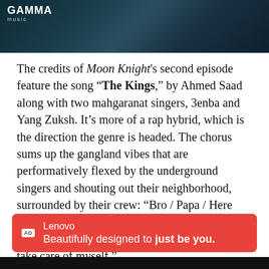[Figure (photo): Dark atmospheric photo of people with Gamma Music logo overlay in top-left corner]
The credits of Moon Knight's second episode feature the song “The Kings,” by Ahmed Saad along with two mahgaranat singers, 3enba and Yang Zuksh. It’s more of a rap hybrid, which is the direction the genre is headed. The chorus sums up the gangland vibes that are performatively flexed by the underground singers and shouting out their neighborhood, surrounded by their crew: “Bro / Papa / Here comes the gang / We live / Simply / You can make it if you want to / I don’t need anyone / I take care of myself.”
[Figure (other): Lenovo advertisement banner: red background, AD badge, text 'Lenovo Beautifully designed to just be you.']